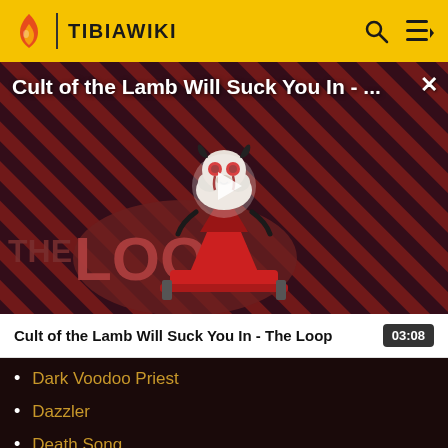TIBIAWIKI
[Figure (screenshot): Video thumbnail for 'Cult of the Lamb Will Suck You In - The Loop' showing a cartoon lamb character with red eyes on a striped background with 'THE LOOP' text, and a play button overlay. Duration 03:08.]
Cult of the Lamb Will Suck You In - The Loop
Dark Voodoo Priest
Dazzler
Death Song
Death from Below